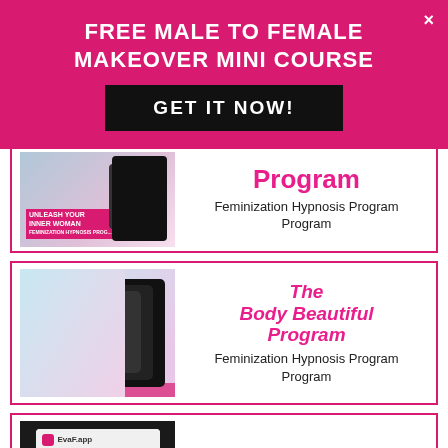FREE MALE TO FEMALE MAKEOVER MINI COURSE
GET IT NOW!
[Figure (illustration): Product image for Unleash Your Inner Woman Feminization Hypnosis Program showing book and phone stack]
Program
Feminization Hypnosis Program
[Figure (illustration): Product image for Body Beautiful Feminization Hypnosis Program showing book and phone stack]
The Body Beautiful Program
Feminization Hypnosis Program
[Figure (illustration): EvaF app screen on tablet device]
EvaF Voice Program